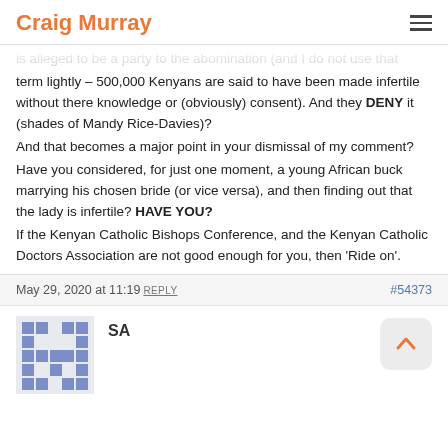Craig Murray
is alleged to be a party to the abomination (and I do not use that term lightly – 500,000 Kenyans are said to have been made infertile without there knowledge or (obviously) consent). And they DENY it (shades of Mandy Rice-Davies)? And that becomes a major point in your dismissal of my comment? Have you considered, for just one moment, a young African buck marrying his chosen bride (or vice versa), and then finding out that the lady is infertile? HAVE YOU? If the Kenyan Catholic Bishops Conference, and the Kenyan Catholic Doctors Association are not good enough for you, then 'Ride on'.
May 29, 2020 at 11:19 REPLY #54373
SA